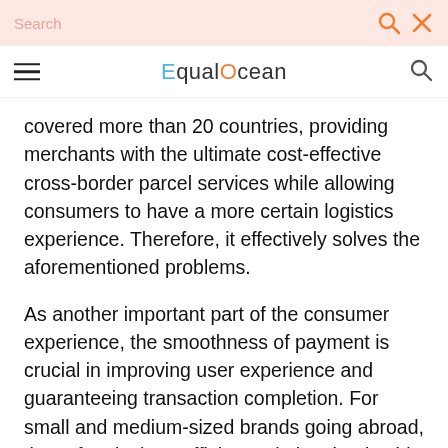Search | EqualOcean
covered more than 20 countries, providing merchants with the ultimate cost-effective cross-border parcel services while allowing consumers to have a more certain logistics experience. Therefore, it effectively solves the aforementioned problems.
As another important part of the consumer experience, the smoothness of payment is crucial in improving user experience and guaranteeing transaction completion. For small and medium-sized brands going abroad, they often lack an efficient solution that is able to handle different